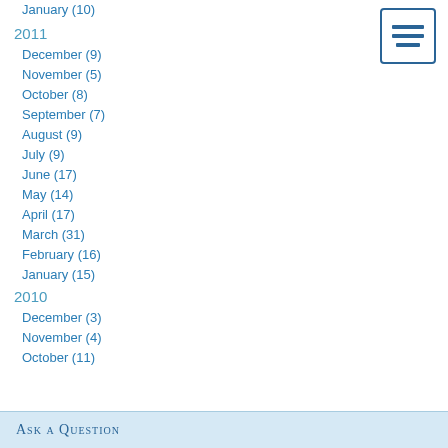January (10)
2011
December (9)
November (5)
October (8)
September (7)
August (9)
July (9)
June (17)
May (14)
April (17)
March (31)
February (16)
January (15)
2010
December (3)
November (4)
October (11)
[Figure (other): Hamburger menu icon — three horizontal blue lines in a bordered box]
Ask a Question